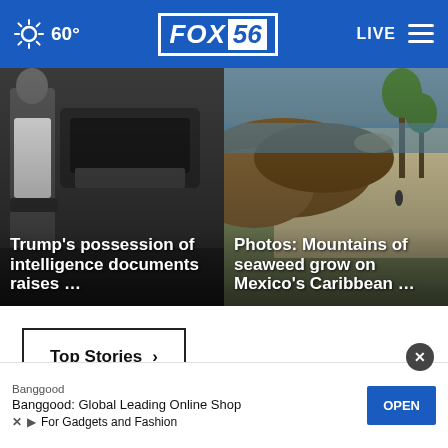FOX56 — 60° — LIVE
[Figure (photo): News card: police officer near vehicles with headline 'Trump's possession of intelligence documents raises ...']
[Figure (photo): News card: aerial view of seaweed-covered beach with headline 'Photos: Mountains of seaweed grow on Mexico's Caribbean ...']
Top Stories ›
[Figure (photo): Partial photo of a person visible behind advertisement banner]
Banggood
Banggood: Global Leading Online Shop
For Gadgets and Fashion